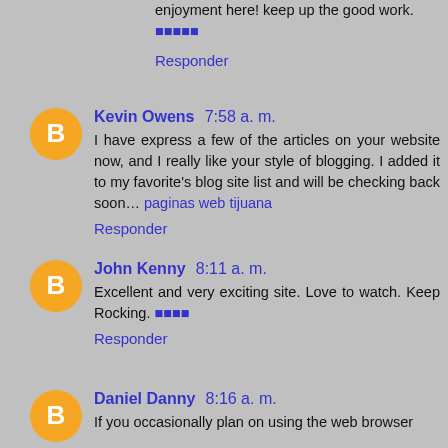enjoyment here! keep up the good work. 🔵🔵🔵🔵🔵
Responder
Kevin Owens 7:58 a. m.
I have express a few of the articles on your website now, and I really like your style of blogging. I added it to my favorite's blog site list and will be checking back soon… paginas web tijuana
Responder
John Kenny 8:11 a. m.
Excellent and very exciting site. Love to watch. Keep Rocking. 🔵🔵🔵🔵
Responder
Daniel Danny 8:16 a. m.
If you occasionally plan on using the web browser...